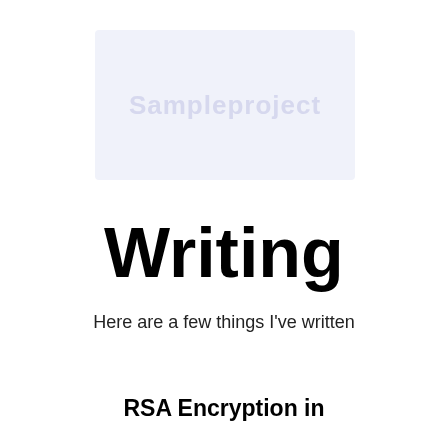[Figure (screenshot): Light blue-gray watermark/banner area with faint bold text reading 'Sampleproject' or similar, centered in a rounded rectangle]
Writing
Here are a few things I've written
RSA Encryption in